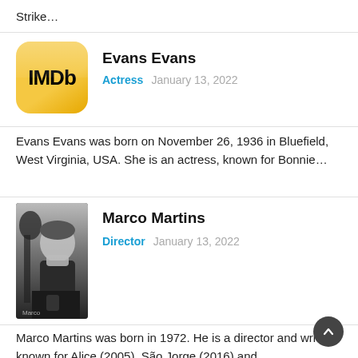Strike…
[Figure (logo): IMDb yellow logo icon with black bold text 'IMDb']
Evans Evans
Actress   January 13, 2022
Evans Evans was born on November 26, 1936 in Bluefield, West Virginia, USA. She is an actress, known for Bonnie…
[Figure (photo): Black and white photograph of Marco Martins]
Marco Martins
Director   January 13, 2022
Marco Martins was born in 1972. He is a director and writer, known for Alice (2005), São Jorge (2016) and…